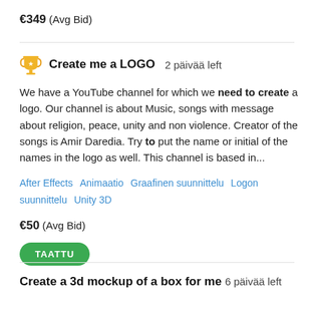€349  (Avg Bid)
Create me a LOGO  2 päivää left
We have a YouTube channel for which we need to create a logo. Our channel is about Music, songs with message about religion, peace, unity and non violence. Creator of the songs is Amir Daredia. Try to put the name or initial of the names in the logo as well. This channel is based in...
After Effects   Animaatio   Graafinen suunnittelu   Logon suunnittelu   Unity 3D
€50  (Avg Bid)
TAATTU
Create a 3d mockup of a box for me  6 päivää left